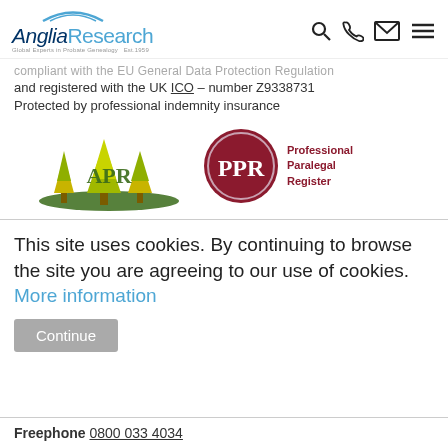[Figure (logo): Anglia Research logo with blue arc and tagline 'Global Experts in Probate Genealogy Est. 1959']
[Figure (screenshot): Navigation icons: search magnifier, phone, envelope/mail, hamburger menu]
compliant with the EU General Data Protection Regulation and registered with the UK ICO – number Z9338731
Protected by professional indemnity insurance
[Figure (logo): APR (Association of Professional Researchers) logo with trees illustration]
[Figure (logo): PPR Professional Paralegal Register logo with dark red circle]
This site uses cookies. By continuing to browse the site you are agreeing to our use of cookies. More information
Continue
Freephone 0800 033 4034